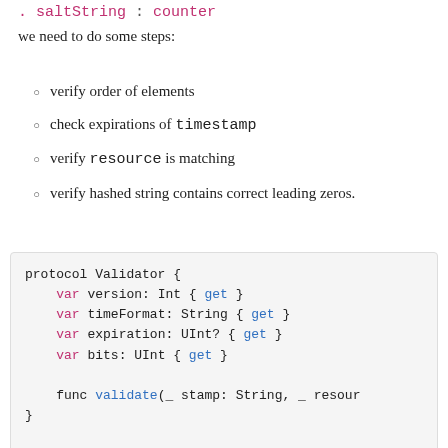. saltString : counter
we need to do some steps:
verify order of elements
check expirations of timestamp
verify resource is matching
verify hashed string contains correct leading zeros.
protocol Validator {
    var version: Int { get }
    var timeFormat: String { get }
    var expiration: UInt? { get }
    var bits: UInt { get }

    func validate(_ stamp: String, _ resour
}

extension Validator {
    func validate(_ stamp: String, _ resour